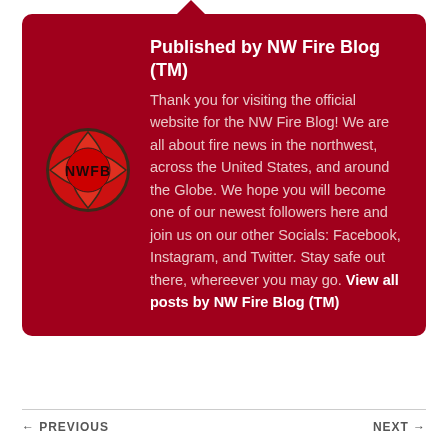Published by NW Fire Blog (TM)
[Figure (logo): NWFB circular logo with red background, Maltese cross shape, dark border, and 'NWFB' text in the center]
Thank you for visiting the official website for the NW Fire Blog! We are all about fire news in the northwest, across the United States, and around the Globe. We hope you will become one of our newest followers here and join us on our other Socials: Facebook, Instagram, and Twitter. Stay safe out there, whereever you may go. View all posts by NW Fire Blog (TM)
← PREVIOUS    NEXT →